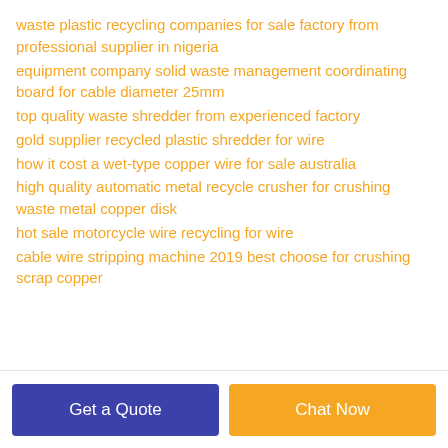waste plastic recycling companies for sale factory from professional supplier in nigeria
equipment company solid waste management coordinating board for cable diameter 25mm
top quality waste shredder from experienced factory
gold supplier recycled plastic shredder for wire
how it cost a wet-type copper wire for sale australia
high quality automatic metal recycle crusher for crushing waste metal copper disk
hot sale motorcycle wire recycling for wire
cable wire stripping machine 2019 best choose for crushing scrap copper